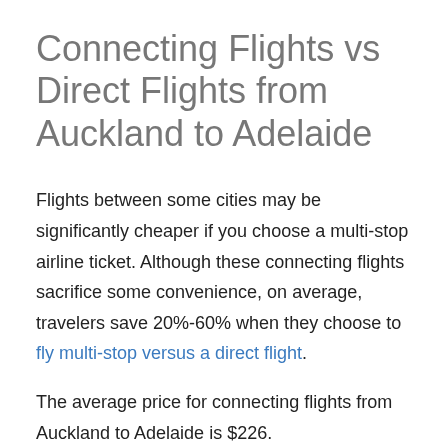Connecting Flights vs Direct Flights from Auckland to Adelaide
Flights between some cities may be significantly cheaper if you choose a multi-stop airline ticket. Although these connecting flights sacrifice some convenience, on average, travelers save 20%-60% when they choose to fly multi-stop versus a direct flight.
The average price for connecting flights from Auckland to Adelaide is $226.